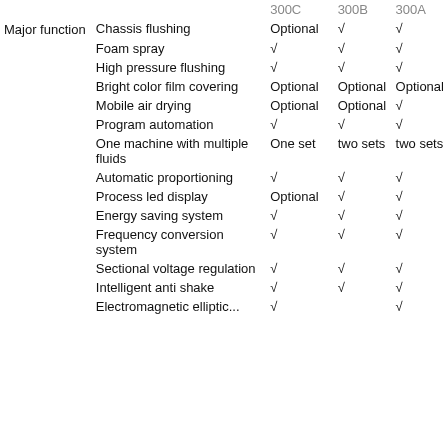|  |  | 300C | 300B | 300A |
| --- | --- | --- | --- | --- |
| Major function | Chassis flushing | Optional | √ | √ |
|  | Foam spray | √ | √ | √ |
|  | High pressure flushing | √ | √ | √ |
|  | Bright color film covering | Optional | Optional | Optional |
|  | Mobile air drying | Optional | Optional | √ |
|  | Program automation | √ | √ | √ |
|  | One machine with multiple fluids | One set | two sets | two sets |
|  | Automatic proportioning | √ | √ | √ |
|  | Process led display | Optional | √ | √ |
|  | Energy saving system | √ | √ | √ |
|  | Frequency conversion system | √ | √ | √ |
|  | Sectional voltage regulation | √ | √ | √ |
|  | Intelligent anti shake | √ | √ | √ |
|  | Electromagnetic elliptic... | √ |  | √ |